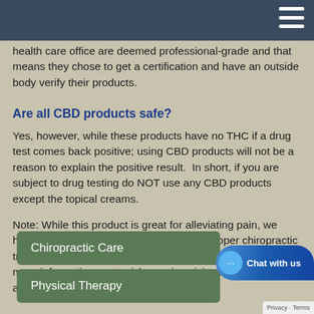health care office are deemed professional-grade and that means they chose to get a certification and have an outside body verify their products.
Are all CBD products safe?
Yes, however, while these products have no THC if a drug test comes back positive; using CBD products will not be a reason to explain the positive result.  In short, if you are subject to drug testing do NOT use any CBD products except the topical creams.
Note: While this product is great for alleviating pain, we highly recommend it as a supplement to proper chiropractic treatment for healing and prevention of future pain. For more information, or to pick up a jar, visit our office at the address below.
Chiropractic Care
Physical Therapy